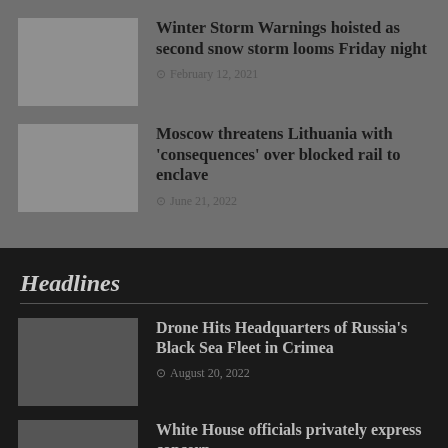Winter Storm Warnings hoisted as second snow storm looms Friday night — February 12, 2021
Moscow threatens Lithuania with 'consequences' over blocked rail to enclave — June 21, 2022
Headlines
Drone Hits Headquarters of Russia's Black Sea Fleet in Crimea — August 20, 2022
White House officials privately express concern